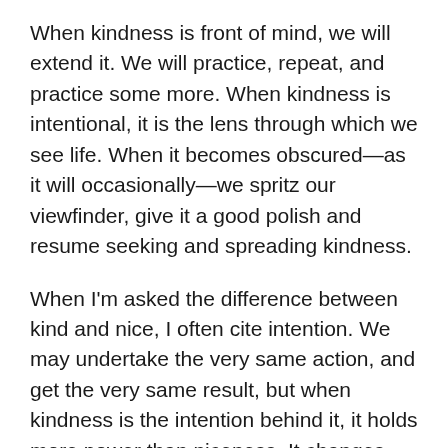When kindness is front of mind, we will extend it. We will practice, repeat, and practice some more. When kindness is intentional, it is the lens through which we see life. When it becomes obscured—as it will occasionally—we spritz our viewfinder, give it a good polish and resume seeking and spreading kindness.
When I'm asked the difference between kind and nice, I often cite intention. We may undertake the very same action, and get the very same result, but when kindness is the intention behind it, it holds more power than niceness. It changes things. It just does.
I'm all for those random acts—picking up the tab for the guy behind us in the Starbucks queue, buying a bouquet from the street vendor and handing it to the lady on the park bench, allowing someone to get in front of us in the